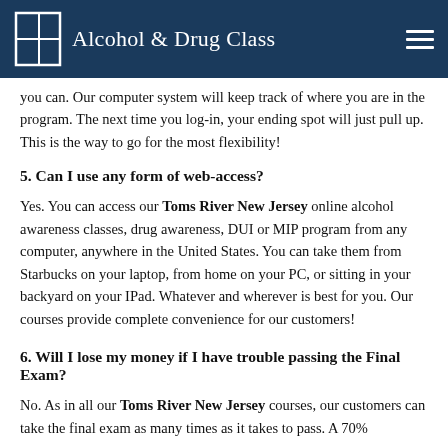Alcohol & Drug Class
you can.  Our computer system will keep track of where you are in the program.  The next time you log-in, your ending spot will just pull up. This is the way to go for the most flexibility!
5.  Can I use any form of web-access?
Yes.  You can access our Toms River New Jersey online alcohol awareness classes, drug awareness, DUI or MIP program from any computer, anywhere in the United States.  You can take them from Starbucks on your laptop, from home on your PC, or sitting in your backyard on your IPad.  Whatever and wherever is best for you.  Our courses provide complete convenience for our customers!
6.  Will I lose my money if I have trouble passing the Final Exam?
No.   As in all our Toms River New Jersey courses, our customers can take the final exam as many times as it takes to pass.   A 70%